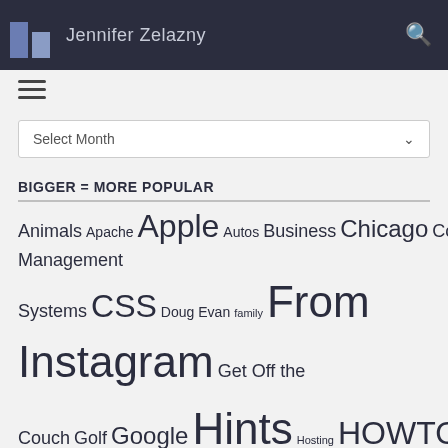Jennifer Zelazny
Select Month
BIGGER = MORE POPULAR
Animals Apache Apple Autos Business Chicago Content Management Systems CSS Doug Evan family From Instagram Get Off the Couch Golf Google Hints Hosting HOWTOs iPhone jappler.com Jappler Recommends Joe-Paterno Ken Mac-OS-X Mac OS X Server Media Mondays MySQL Penn State People PHP